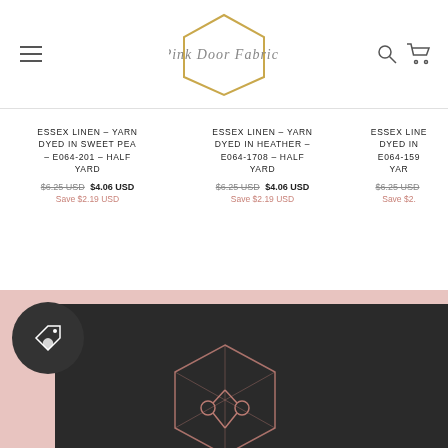[Figure (logo): Pink Door Fabrics logo with hexagon outline and script text]
ESSEX LINEN - YARN DYED IN SWEET PEA - E064-201 - HALF YARD
$6.25 USD  $4.06 USD
Save $2.19 USD
ESSEX LINEN - YARN DYED IN HEATHER - E064-1708 - HALF YARD
$6.25 USD  $4.06 USD
Save $2.19 USD
ESSEX LINEN - YARN DYED IN E064-159- YAR
$6.25 USD
Save $2.
[Figure (photo): Dark grey/black t-shirt with pink geometric hexagon and scissors logo on pink background, with dark circular loyalty badge icon overlay]